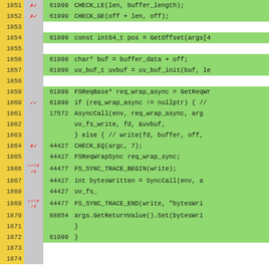[Figure (screenshot): Code coverage viewer showing C++ source lines 1851-1874 with line numbers (yellow), coverage markers (gray), hit counts, and highlighted code lines (green). Shows filesystem write operation code with CHECK macros, async/sync call patterns, and FS_SYNC_TRACE macros.]